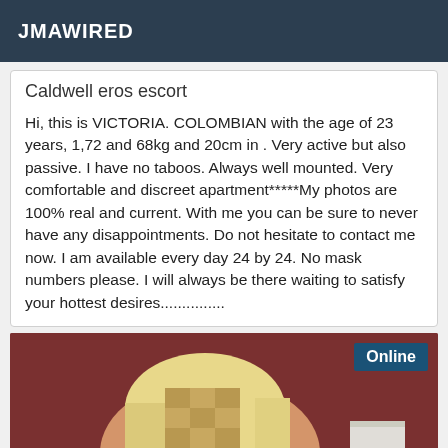JMAWIRED
Caldwell eros escort
Hi, this is VICTORIA. COLOMBIAN with the age of 23 years, 1,72 and 68kg and 20cm in . Very active but also passive. I have no taboos. Always well mounted. Very comfortable and discreet apartment*****My photos are 100% real and current. With me you can be sure to never have any disappointments. Do not hesitate to contact me now. I am available every day 24 by 24. No mask numbers please. I will always be there waiting to satisfy your hottest desires...............
[Figure (photo): Photo of a blonde woman in black lingerie in a room with dark red walls, face pixelated/blurred for privacy. An 'Online' badge appears in the top right corner.]